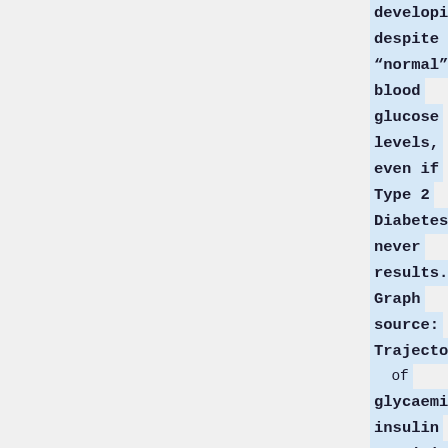developing despite the "normal" blood glucose levels, even if Type 2 Diabetes never results. Graph source: Trajectories of glycaemia, insulin sensitivity, and insulin secretion before